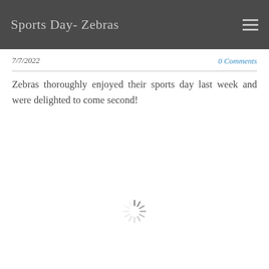Sports Day- Zebras
7/7/2022
0 Comments
Zebras thoroughly enjoyed their sports day last week and were delighted to come second!
[Figure (other): Loading spinner icon in the center of the page]